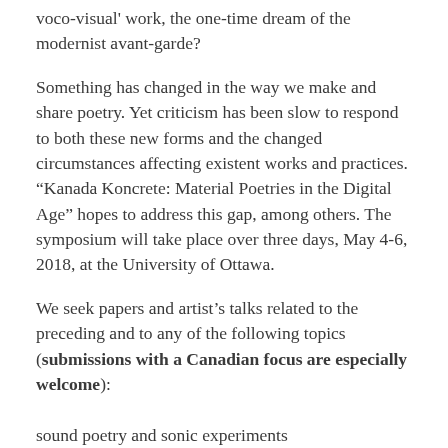voco-visual' work, the one-time dream of the modernist avant-garde?
Something has changed in the way we make and share poetry. Yet criticism has been slow to respond to both these new forms and the changed circumstances affecting existent works and practices. “Kanada Koncrete: Material Poetries in the Digital Age” hopes to address this gap, among others. The symposium will take place over three days, May 4-6, 2018, at the University of Ottawa.
We seek papers and artist’s talks related to the preceding and to any of the following topics (submissions with a Canadian focus are especially welcome):
sound poetry and sonic experiments